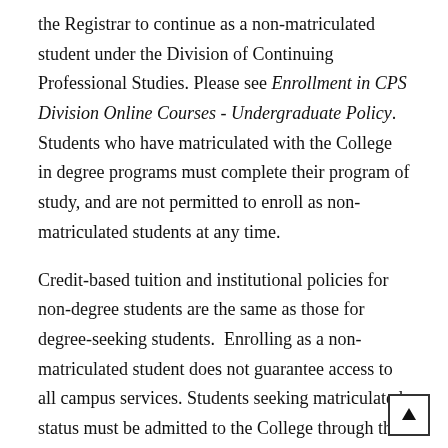the Registrar to continue as a non-matriculated student under the Division of Continuing Professional Studies. Please see Enrollment in CPS Division Online Courses - Undergraduate Policy. Students who have matriculated with the College in degree programs must complete their program of study, and are not permitted to enroll as non-matriculated students at any time.
Credit-based tuition and institutional policies for non-degree students are the same as those for degree-seeking students. Enrolling as a non-matriculated student does not guarantee access to all campus services. Students seeking matriculated status must be admitted to the College through the appropriate Champlain Admission Office. Academic achievement in